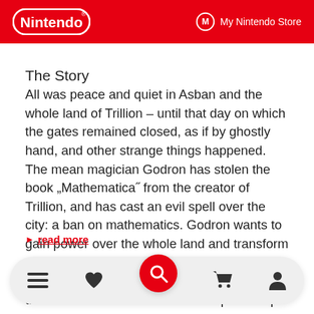Nintendo | My Nintendo Store
The Story
All was peace and quiet in Asban and the whole land of Trillion – until that day on which the gates remained closed, as if by ghostly hand, and other strange things happened. The mean magician Godron has stolen the book „Mathematica˝ from the creator of Trillion, and has cast an evil spell over the city: a ban on mathematics. Godron wants to gain power over the whole land and transform the world according to his will. But there are the brave heroes Bernard and Celestine with their friend 2weistein who want to put a stop to Godron to keep
read more